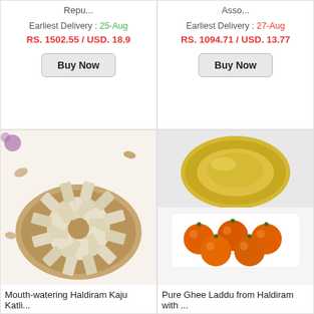Repu...
Earliest Delivery : 25-Aug
RS. 1502.55 / USD. 18.9
Buy Now
Asso...
Earliest Delivery : 27-Aug
RS. 1094.71 / USD. 13.77
Buy Now
[Figure (photo): Mouth-watering Haldiram Kaju Katli arranged in a flower pattern on a round plate, with cashews scattered around]
Mouth-watering Haldiram Kaju Katli...
[Figure (photo): Pure Ghee Laddu from Haldiram with orange round laddus on a white plate and a gold plate above]
Pure Ghee Laddu from Haldiram with ...